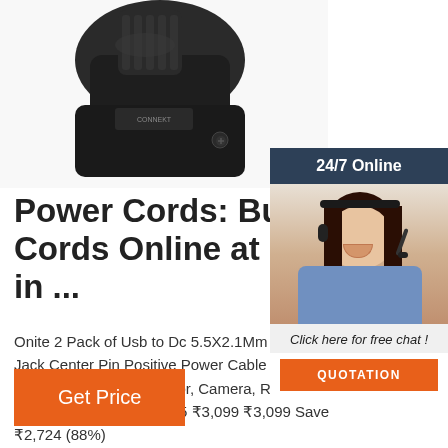[Figure (photo): Close-up photo of a black electrical power connector/plug component against white background]
[Figure (infographic): 24/7 Online chat widget showing a woman with headset, 'Click here for free chat!' text, and QUOTATION button]
Power Cords: Buy Power Cords Online at Best Price in ...
Onite 2 Pack of Usb to Dc 5.5X2.1Mm Barrel Jack Center Pin Positive Power Cable Cha... Cord for Led Strip, Monitor, Camera, Rou ... of 5 stars 343 ₹375 ₹ 375 ₹3,099 ₹3,099 Save ₹2,724 (88%)
Get Price